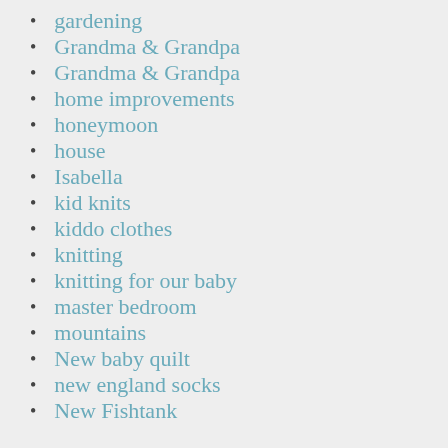gardening
Grandma & Grandpa
Grandma & Grandpa
home improvements
honeymoon
house
Isabella
kid knits
kiddo clothes
knitting
knitting for our baby
master bedroom
mountains
New baby quilt
new england socks
New Fishtank